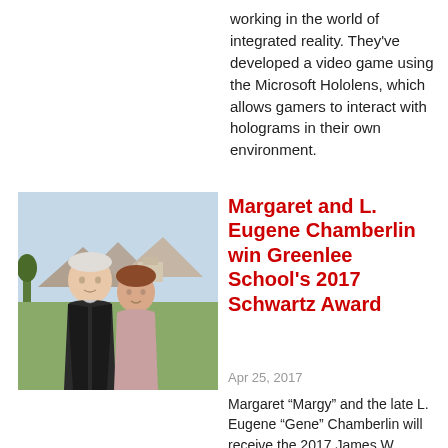working in the world of integrated reality. They've developed a video game using the Microsoft Hololens, which allows gamers to interact with holograms in their own environment.
[Figure (photo): Photo of an elderly couple (Margaret and L. Eugene Chamberlin) standing together outdoors with a golf course and mountains visible in the background.]
Margaret and L. Eugene Chamberlin win Greenlee School's 2017 Schwartz Award
Apr 25, 2017
Margaret “Margy” and the late L. Eugene “Gene” Chamberlin will receive the 2017 James W. Schwartz Award from Iowa State University’s Greenlee School of